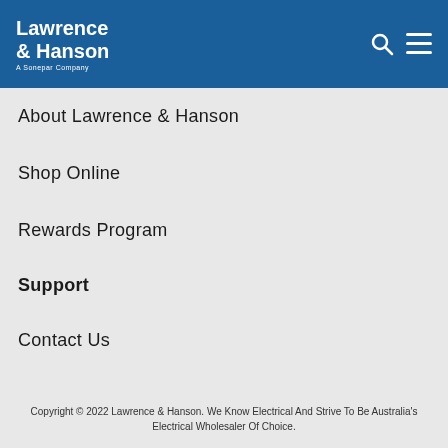Lawrence & Hanson A Sonepar Company
About Lawrence & Hanson
Shop Online
Rewards Program
Support
Contact Us
Feedback Policy
Copyright © 2022 Lawrence & Hanson. We Know Electrical And Strive To Be Australia's Electrical Wholesaler Of Choice.